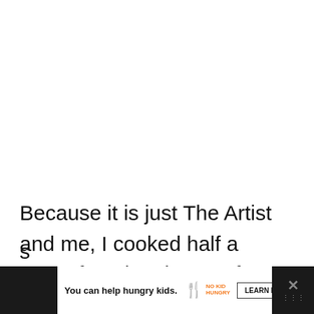Because it is just The Artist and me, I cooked half a roast, freezing the rest for a meal later. No changes in the cooking time and I just cut back the liquid s
[Figure (other): Advertisement banner at bottom: dark background with white ad panel. Text: 'You can help hungry kids.' with No Kid Hungry logo and 'LEARN HOW' button. Close X button visible. Side panel with X icon and dots icon on dark background.]